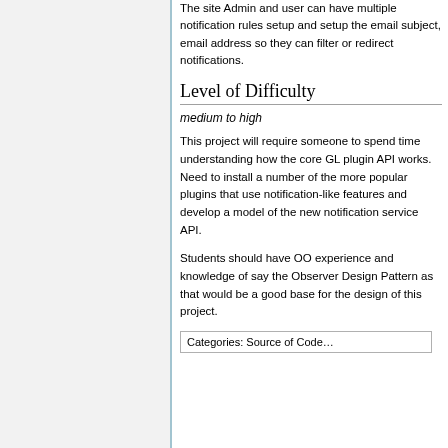The site Admin and user can have multiple notification rules setup and setup the email subject, email address so they can filter or redirect notifications.
Level of Difficulty
medium to high
This project will require someone to spend time understanding how the core GL plugin API works. Need to install a number of the more popular plugins that use notification-like features and develop a model of the new notification service API.
Students should have OO experience and knowledge of say the Observer Design Pattern as that would be a good base for the design of this project.